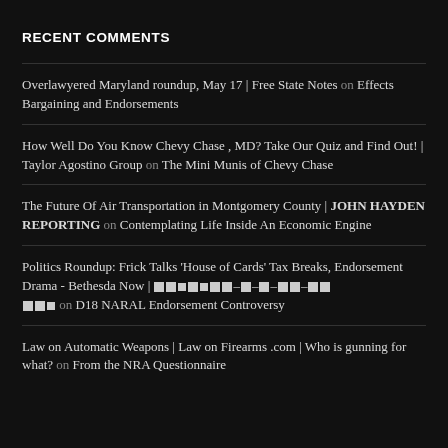RECENT COMMENTS
Overlawyered Maryland roundup, May 17 | Free State Notes on Effects Bargaining and Endorsements
How Well Do You Know Chevy Chase , MD? Take Our Quiz and Find Out! | Taylor Agostino Group on The Mini Munis of Chevy Chase
The Future Of Air Transportation in Montgomery County | JOHN HAYDEN REPORTING on Contemplating Life Inside An Economic Engine
Politics Roundup: Frick Talks 'House of Cards' Tax Breaks, Endorsement Drama - Bethesda Now | [redacted] on D18 NARAL Endorsement Controversy
Law on Automatic Weapons | Law on Firearms .com | Who is gunning for what? on From the NRA Questionnaire